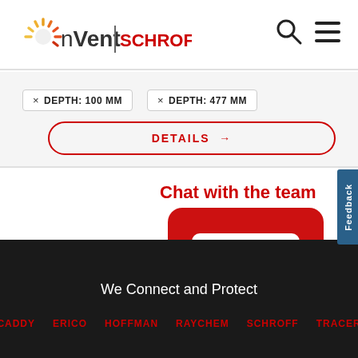[Figure (logo): nVent SCHROFF logo with stylized sunburst icon, search icon and hamburger menu in header]
× DEPTH: 100 MM   × DEPTH: 477 MM
DETAILS →
Chat with the team
[Figure (illustration): Red speech bubble chat icon with three white horizontal lines, overlapping a grey chat bubble]
Feedback
We Connect and Protect
CADDY   ERICO   HOFFMAN   RAYCHEM   SCHROFF   TRACER